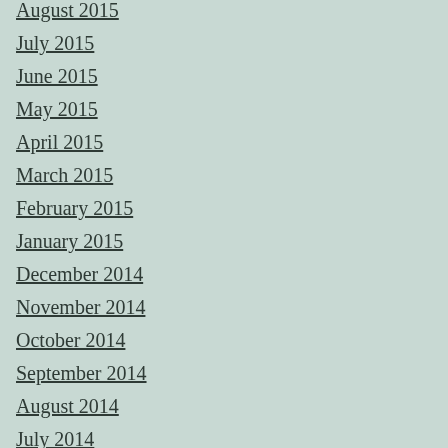August 2015
July 2015
June 2015
May 2015
April 2015
March 2015
February 2015
January 2015
December 2014
November 2014
October 2014
September 2014
August 2014
July 2014